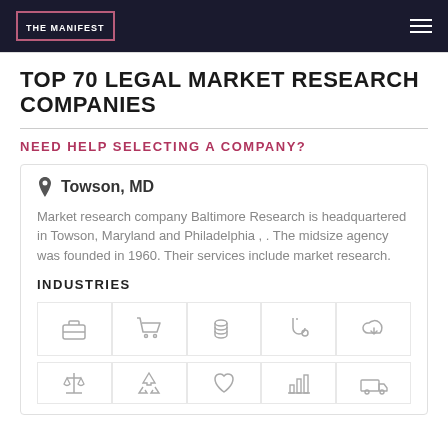THE MANIFEST
TOP 70 LEGAL MARKET RESEARCH COMPANIES
NEED HELP SELECTING A COMPANY?
Towson, MD
Market research company Baltimore Research is headquartered in Towson, Maryland and Philadelphia , . The midsize agency was founded in 1960. Their services include market research.
INDUSTRIES
[Figure (illustration): Industry icons grid showing briefcase, shopping cart, coins/money, stethoscope/medical, cloud/tech, scales of justice, recycling/eco, heart/charity, bar chart/analytics, delivery truck]